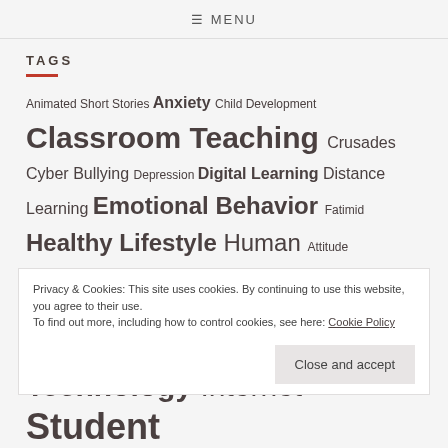≡ MENU
TAGS
Animated Short Stories Anxiety Child Development Classroom Teaching Crusades Cyber Bullying Depression Digital Learning Distance Learning Emotional Behavior Fatimid Healthy Lifestyle Human Attitude Human behavior Information Communication Technology Internet
Privacy & Cookies: This site uses cookies. By continuing to use this website, you agree to their use.
To find out more, including how to control cookies, see here: Cookie Policy
Close and accept
Student